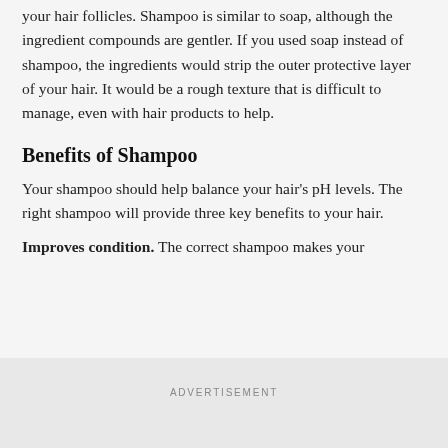your hair follicles. Shampoo is similar to soap, although the ingredient compounds are gentler. If you used soap instead of shampoo, the ingredients would strip the outer protective layer of your hair. It would be a rough texture that is difficult to manage, even with hair products to help.
Benefits of Shampoo
Your shampoo should help balance your hair's pH levels. The right shampoo will provide three key benefits to your hair.
Improves condition. The correct shampoo makes your
ADVERTISEMENT